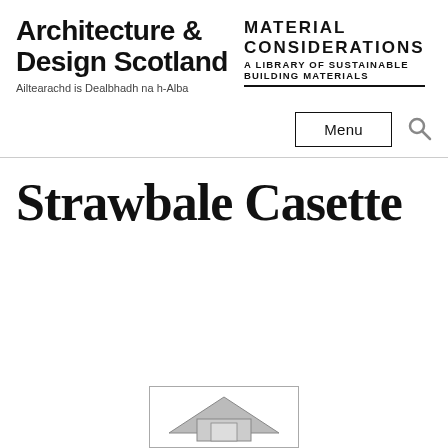Architecture & Design Scotland
Ailtearachd is Dealbhadh na h-Alba
MATERIAL CONSIDERATIONS
A LIBRARY OF SUSTAINABLE BUILDING MATERIALS
[Figure (screenshot): Menu button with border and search icon]
Strawbale Casette
[Figure (illustration): Small preview image partially visible at bottom of page]